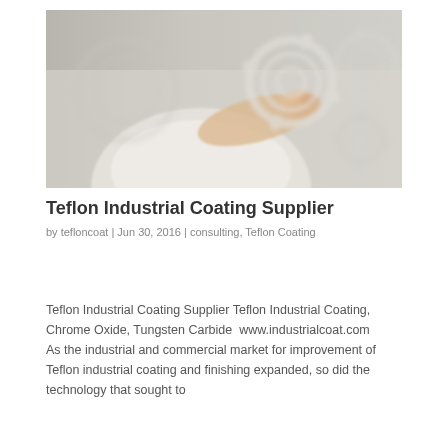[Figure (photo): A person in white clothing pointing at or touching semi-transparent gear/cog wheel icons floating in the air against a light grey background.]
Teflon Industrial Coating Supplier
by tefloncoat | Jun 30, 2016 | consulting, Teflon Coating
Teflon Industrial Coating Supplier Teflon Industrial Coating, Chrome Oxide, Tungsten Carbide  www.industrialcoat.com  As the industrial and commercial market for improvement of Teflon industrial coating and finishing expanded, so did the technology that sought to